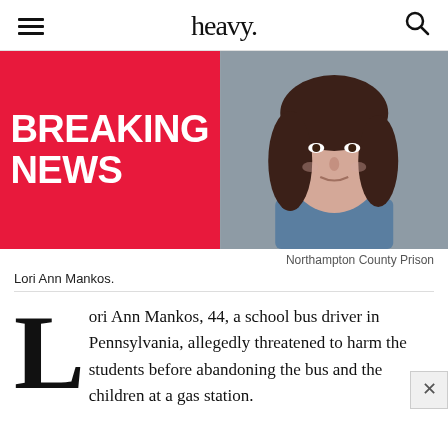heavy.
[Figure (photo): Left half: red background with white bold text 'BREAKING NEWS'. Right half: mugshot photo of Lori Ann Mankos, a woman with dark hair wearing a blue top, against a gray background.]
Northampton County Prison
Lori Ann Mankos.
Lori Ann Mankos, 44, a school bus driver in Pennsylvania, allegedly threatened to harm the students before abandoning the bus and the children at a gas station.